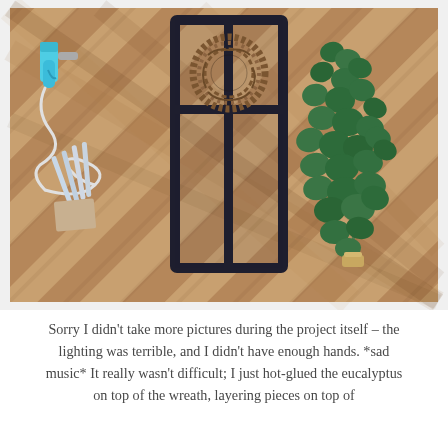[Figure (photo): A flat-lay photo on a wooden herringbone floor showing three craft supplies: a teal/turquoise hot glue gun with white cord and glue sticks on the left, a dark navy blue wooden window frame with a grapevine wreath hanging in the upper pane in the center, and a bundle of preserved green eucalyptus sprigs on the right.]
Sorry I didn't take more pictures during the project itself – the lighting was terrible, and I didn't have enough hands. *sad music* It really wasn't difficult; I just hot-glued the eucalyptus on top of the wreath, layering pieces on top of